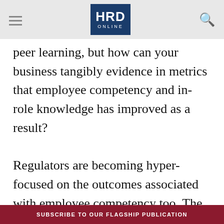HRD ONLINE
peer learning, but how can your business tangibly evidence in metrics that employee competency and in-role knowledge has improved as a result?

Regulators are becoming hyper-focused on the outcomes associated with employee competency too. The recent release of the Financial Conduct Authority's (FCA) FG21/1 Guidance for firms on the fair treatment of vulnerable customers
SUBSCRIBE TO OUR FLAGSHIP PUBLICATION